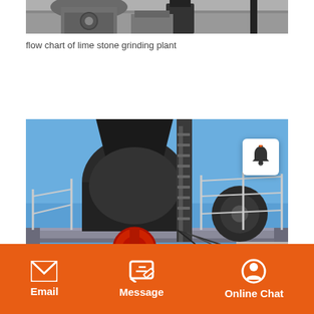[Figure (photo): Partial view of stone grinding machinery, showing mechanical components against a grey background]
flow chart of lime stone grinding plant
[Figure (photo): Stone crushing/grinding plant machinery on an elevated metal platform against a blue sky, with a worker in white hard hat visible below]
Email  Message  Online Chat